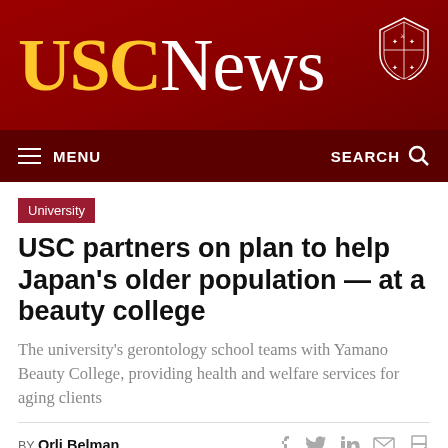USC News
University
USC partners on plan to help Japan's older population — at a beauty college
The university's gerontology school teams with Yamano Beauty College, providing health and welfare services for aging clients
BY Orli Belman
JULY 27, 2017